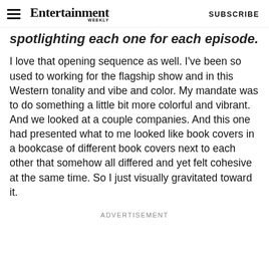Entertainment Weekly | SUBSCRIBE
spotlighting each one for each episode.
I love that opening sequence as well. I've been so used to working for the flagship show and in this Western tonality and vibe and color. My mandate was to do something a little bit more colorful and vibrant. And we looked at a couple companies. And this one had presented what to me looked like book covers in a bookcase of different book covers next to each other that somehow all differed and yet felt cohesive at the same time. So I just visually gravitated toward it.
ADVERTISEMENT